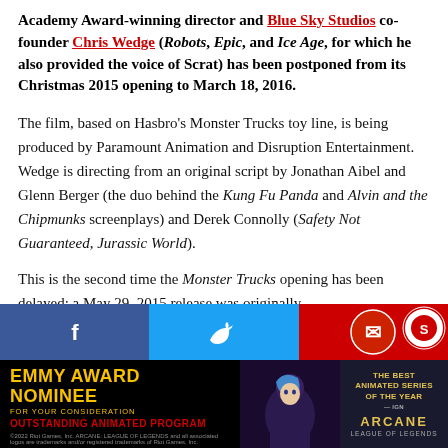Academy Award-winning director and Blue Sky Studios co-founder Chris Wedge (Robots, Epic, and Ice Age, for which he also provided the voice of Scrat) has been postponed from its Christmas 2015 opening to March 18, 2016.
The film, based on Hasbro's Monster Trucks toy line, is being produced by Paramount Animation and Disruption Entertainment. Wedge is directing from an original script by Jonathan Aibel and Glenn Berger (the duo behind the Kung Fu Panda and Alvin and the Chipmunks screenplays) and Derek Connolly (Safety Not Guaranteed, Jurassic World).
This is the second time the Monster Trucks opening has been delayed; a May 29, 2015 release was originally
[Figure (other): Social media share bar with Facebook (blue), Twitter (cyan), and email/share (red) buttons]
[Figure (infographic): Emmy Award Nominee advertisement banner for Arcane: League of Legends - Outstanding Animated Program, with character imagery and gold/red color scheme]